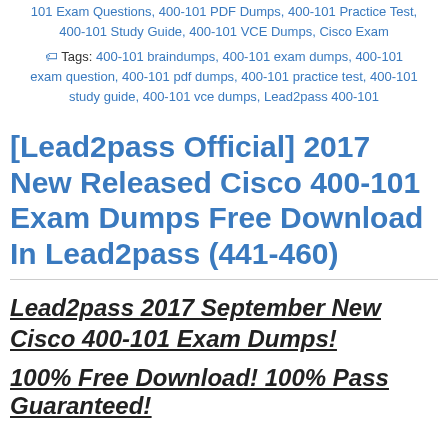101 Exam Questions, 400-101 PDF Dumps, 400-101 Practice Test, 400-101 Study Guide, 400-101 VCE Dumps, Cisco Exam
Tags: 400-101 braindumps, 400-101 exam dumps, 400-101 exam question, 400-101 pdf dumps, 400-101 practice test, 400-101 study guide, 400-101 vce dumps, Lead2pass 400-101
[Lead2pass Official] 2017 New Released Cisco 400-101 Exam Dumps Free Download In Lead2pass (441-460)
Lead2pass 2017 September New Cisco 400-101 Exam Dumps! 100% Free Download! 100% Pass Guaranteed!